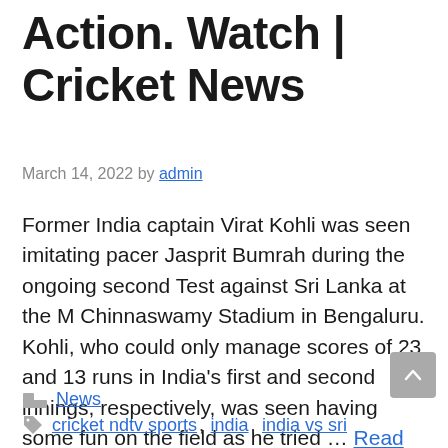Action. Watch | Cricket News
March 14, 2022 by admin
Former India captain Virat Kohli was seen imitating pacer Jasprit Bumrah during the ongoing second Test against Sri Lanka at the M Chinnaswamy Stadium in Bengaluru. Kohli, who could only manage scores of 23 and 13 runs in India's first and second innings, respectively, was seen having some fun on the field as he tried … Read more
News
cricket ndtv sports, india, india vs sri